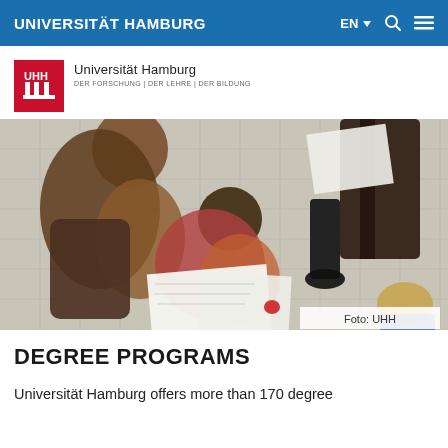UNIVERSITÄT HAMBURG   EN ∨  🔍  ≡
[Figure (logo): Universität Hamburg logo with red UHH box showing castle emblem, text 'Universität Hamburg', subtitle 'DER FORSCHUNG | DER LEHRE | DER BILDUNG']
[Figure (photo): Overhead photo of students gathered around papers/books on a tiled floor, looking at documents together. Caption: Foto: UHH]
DEGREE PROGRAMS
Universität Hamburg offers more than 170 degree